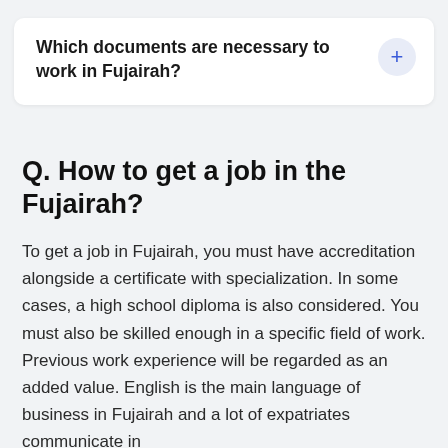Which documents are necessary to work in Fujairah?
Q. How to get a job in the Fujairah?
To get a job in Fujairah, you must have accreditation alongside a certificate with specialization. In some cases, a high school diploma is also considered. You must also be skilled enough in a specific field of work. Previous work experience will be regarded as an added value. English is the main language of business in Fujairah and a lot of expatriates communicate in